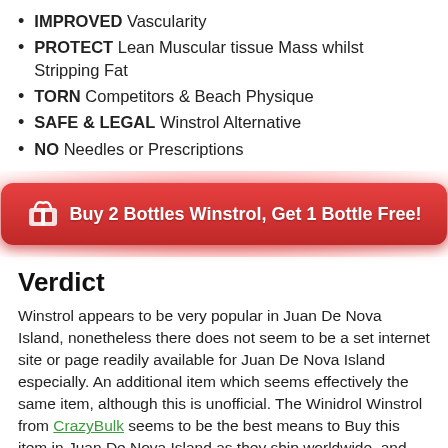IMPROVED Vascularity
PROTECT Lean Muscular tissue Mass whilst Stripping Fat
TORN Competitors & Beach Physique
SAFE & LEGAL Winstrol Alternative
NO Needles or Prescriptions
[Figure (other): Red button: Buy 2 Bottles Winstrol, Get 1 Bottle Free!]
Verdict
Winstrol appears to be very popular in Juan De Nova Island, nonetheless there does not seem to be a set internet site or page readily available for Juan De Nova Island especially. An additional item which seems effectively the same item, although this is unofficial. The Winidrol Winstrol from CrazyBulk seems to be the best means to Buy this item in Juan De Nova Island as they ship worldwide, and also permits a much better opportunity of customer service than if bought